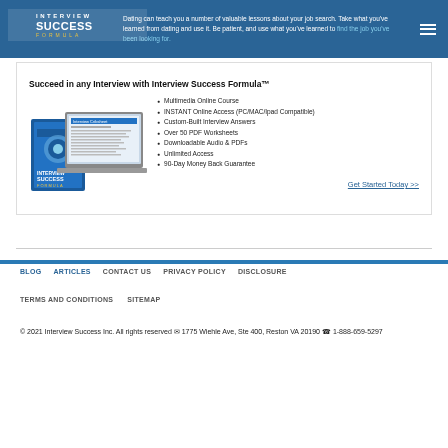Dating can teach you a number of valuable lessons about your job search. Take what you've learned from dating and use it. Be patient, and use what you've learned to find the job you've been looking for.
[Figure (logo): Interview Success Formula logo with swoosh graphic]
Succeed in any Interview with Interview Success Formula™
[Figure (photo): Product image showing Interview Success Formula box and laptop with Interview Cribsheet]
Multimedia Online Course
INSTANT Online Access (PC/MAC/Ipad Compatible)
Custom-Built Interview Answers
Over 50 PDF Worksheets
Downloadable Audio & PDFs
Unlimited Access
90-Day Money Back Guarantee
Get Started Today >>
BLOG   ARTICLES   CONTACT US   PRIVACY POLICY   DISCLOSURE
TERMS AND CONDITIONS   SITEMAP
© 2021 Interview Success Inc. All rights reserved ✉ 1775 Wiehle Ave, Ste 400, Reston VA 20190 ☎ 1-888-659-5297